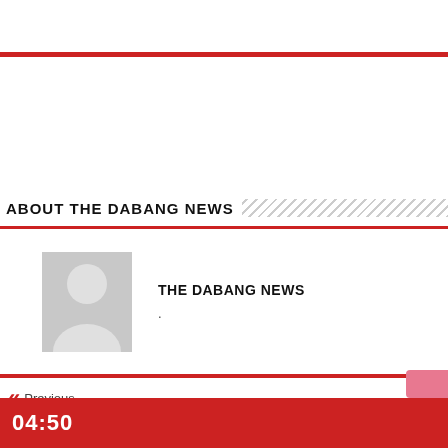ABOUT THE DABANG NEWS
[Figure (illustration): Default grey avatar/placeholder person icon]
THE DABANG NEWS
.
Previous
7
Next
04:50